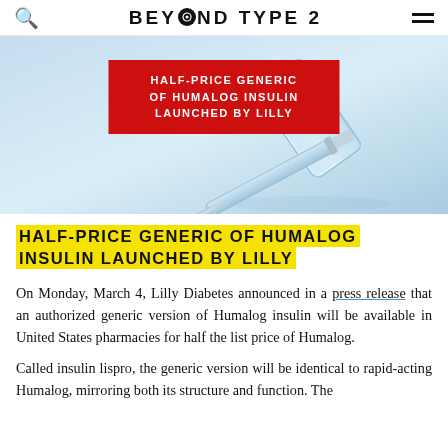BEYOND TYPE 2
[Figure (photo): Hero banner image showing medical insulin vials and syringe on blue background, with red overlay banner reading HALF-PRICE GENERIC OF HUMALOG INSULIN LAUNCHED BY LILLY]
HALF-PRICE GENERIC OF HUMALOG INSULIN LAUNCHED BY LILLY
On Monday, March 4, Lilly Diabetes announced in a press release that an authorized generic version of Humalog insulin will be available in United States pharmacies for half the list price of Humalog.
Called insulin lispro, the generic version will be identical to rapid-acting Humalog, mirroring both its structure and function. The